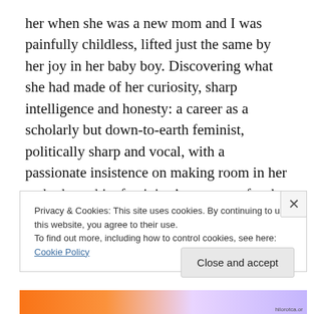her when she was a new mom and I was painfully childless, lifted just the same by her joy in her baby boy. Discovering what she had made of her curiosity, sharp intelligence and honesty: a career as a scholarly but down-to-earth feminist, politically sharp and vocal, with a passionate insistence on making room in her and other white feminists’ awareness for the experiences of women of color. Reading her blog, which was courageous and well-written, funny and scrupulously fair.
Privacy & Cookies: This site uses cookies. By continuing to use this website, you agree to their use.
To find out more, including how to control cookies, see here: Cookie Policy
Close and accept